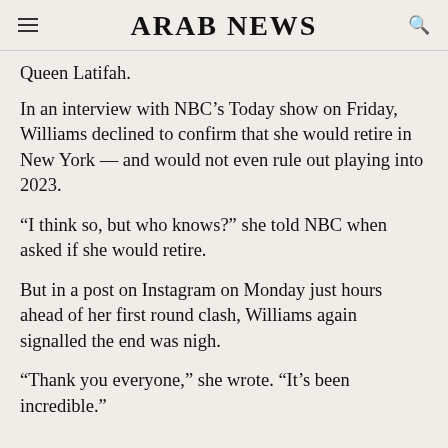ARAB NEWS
Queen Latifah.
In an interview with NBC’s Today show on Friday, Williams declined to confirm that she would retire in New York — and would not even rule out playing into 2023.
“I think so, but who knows?” she told NBC when asked if she would retire.
But in a post on Instagram on Monday just hours ahead of her first round clash, Williams again signalled the end was nigh.
“Thank you everyone,” she wrote. “It’s been incredible.”